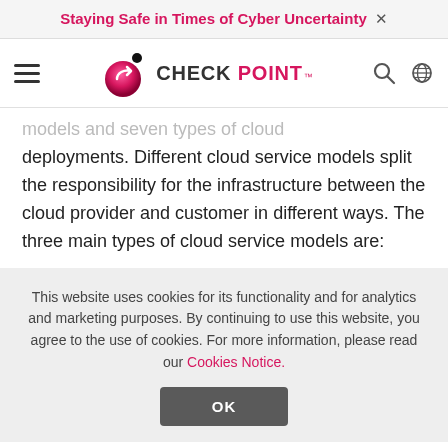Staying Safe in Times of Cyber Uncertainty ×
[Figure (logo): Check Point Software logo with pink sphere and CHECK POINT wordmark]
models and seven types of cloud deployments. Different cloud service models split the responsibility for the infrastructure between the cloud provider and customer in different ways. The three main types of cloud service models are:
This website uses cookies for its functionality and for analytics and marketing purposes. By continuing to use this website, you agree to the use of cookies. For more information, please read our Cookies Notice.
OK